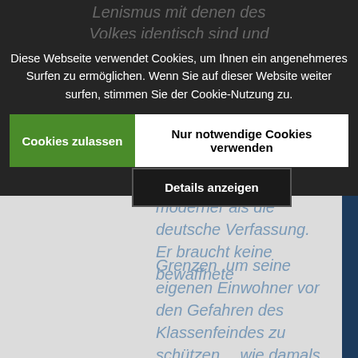Lenismus mit denen des Volkes identisch sind und die man einfach gut finden muss! :)
Diese Webseite verwendet Cookies, um Ihnen ein angenehmeres Surfen zu ermöglichen. Wenn Sie auf dieser Website weiter surfen, stimmen Sie der Cookie-Nutzung zu.
[Figure (screenshot): Cookie consent banner with two buttons: green 'Cookies zulassen' button and white 'Nur notwendige Cookies verwenden' button]
Details anzeigen
moderner als die deutsche Verfassung. Er braucht keine bewaffnete Grenzen ,um seine eigenen Einwohner vor den Gefahren des Klassenfeindes zu schützen… wie damals eine Deutsche DEMOKRATISCHE Republik mit ihrer vielfältigen Parteienlandschaft…. :) :)